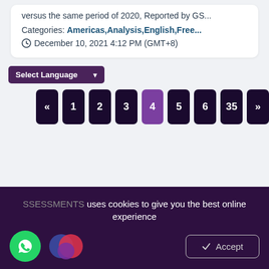versus the same period of 2020, reported by GS...
Categories: Americas,Analysis,English,Free...
December 10, 2021 4:12 PM (GMT+8)
Select Language
« 1 2 3 4 5 6 35 »
SSESSMENTS uses cookies to give you the best online experience
Accept